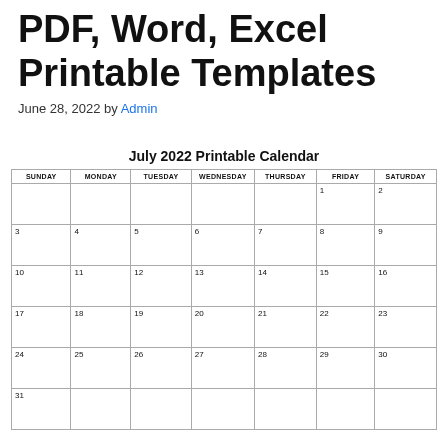PDF, Word, Excel Printable Templates
June 28, 2022 by Admin
July 2022 Printable Calendar
| SUNDAY | MONDAY | TUESDAY | WEDNESDAY | THURSDAY | FRIDAY | SATURDAY |
| --- | --- | --- | --- | --- | --- | --- |
|  |  |  |  |  | 1 | 2 |
| 3 | 4 | 5 | 6 | 7 | 8 | 9 |
| 10 | 11 | 12 | 13 | 14 | 15 | 16 |
| 17 | 18 | 19 | 20 | 21 | 22 | 23 |
| 24 | 25 | 26 | 27 | 28 | 29 | 30 |
| 31 |  |  |  |  |  |  |